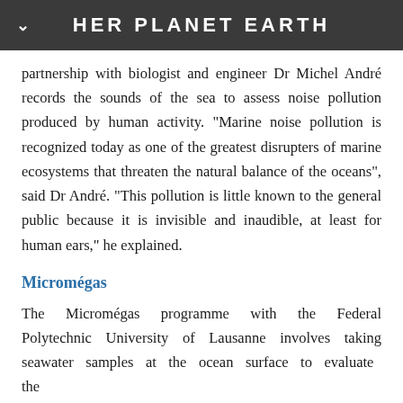HER PLANET EARTH
partnership with biologist and engineer Dr Michel André records the sounds of the sea to assess noise pollution produced by human activity. "Marine noise pollution is recognized today as one of the greatest disrupters of marine ecosystems that threaten the natural balance of the oceans", said Dr André. "This pollution is little known to the general public because it is invisible and inaudible, at least for human ears," he explained.
Micromégas
The Micromégas programme with the Federal Polytechnic University of Lausanne involves taking seawater samples at the ocean surface to evaluate the